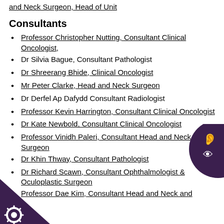and Neck Surgeon, Head of Unit
Consultants
Professor Christopher Nutting, Consultant Clinical Oncologist,
Dr Silvia Bague, Consultant Pathologist
Dr Shreerang Bhide, Clinical Oncologist
Mr Peter Clarke, Head and Neck Surgeon
Dr Derfel Ap Dafydd Consultant Radiologist
Professor Kevin Harrington, Consultant Clinical Oncologist
Dr Kate Newbold, Consultant Clinical Oncologist
Professor Vinidh Paleri, Consultant Head and Neck Surgeon
Dr Khin Thway, Consultant Pathologist
Dr Richard Scawn, Consultant Ophthalmologist & Oculoplastic Surgeon
Professor Dae Kim, Consultant Head and Neck and